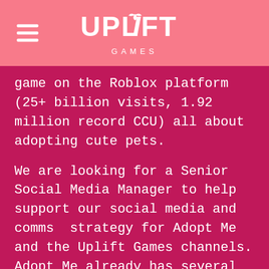UPLIFT GAMES
game on the Roblox platform (25+ billion visits, 1.92 million record CCU) all about adopting cute pets.
We are looking for a Senior Social Media Manager to help support our social media and comms  strategy for Adopt Me and the Uplift Games channels. Adopt Me already has several large